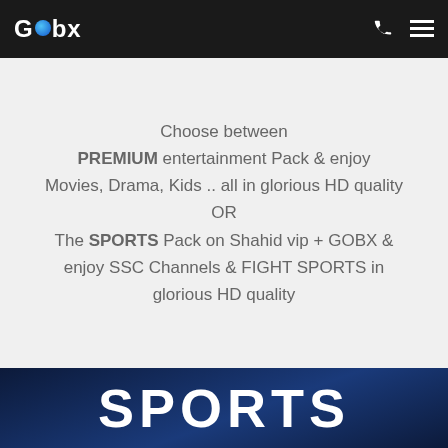GOBX — Entertainment · Drama · Kids
Choose between
PREMIUM entertainment Pack & enjoy
Movies, Drama, Kids .. all in glorious HD quality
OR
The SPORTS Pack on Shahid vip + GOBX & enjoy SSC Channels & FIGHT SPORTS in glorious HD quality
[Figure (screenshot): Dark blue banner with large white bold text reading SPORTS]